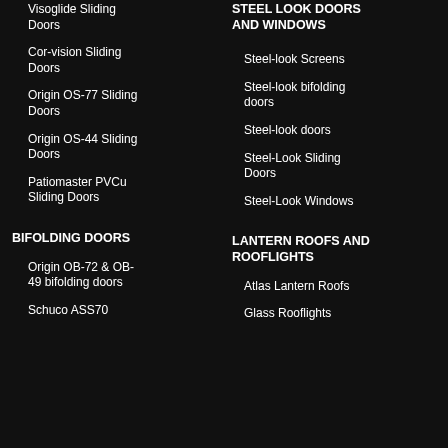Visoglide Sliding Doors
Cor-vision Sliding Doors
Origin OS-77 Sliding Doors
Origin OS-44 Sliding Doors
Patiomaster PVCu Sliding Doors
STEEL LOOK DOORS AND WINDOWS
Steel-look Screens
Steel-look bifolding doors
Steel-look doors
Steel-Look Sliding Doors
Steel-Look Windows
BIFOLDING DOORS
Origin OB-72 & OB-49 bifolding doors
Schuco ASS70
LANTERN ROOFS AND ROOFLIGHTS
Atlas Lantern Roofs
Glass Rooflights